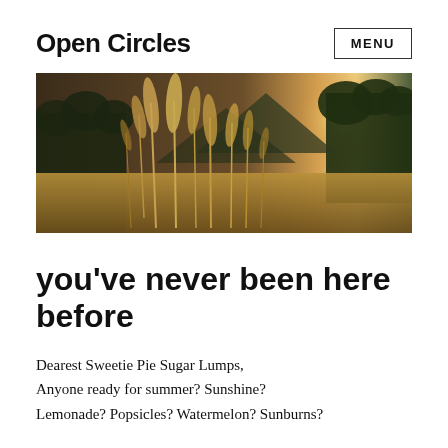Open Circles
[Figure (photo): Landscape photo showing tall golden feathery grass or pampas-like plants in the foreground, with a bright sun flare behind a mountain and trees in the background. Warm golden tones.]
you've never been here before
Dearest Sweetie Pie Sugar Lumps, Anyone ready for summer? Sunshine? Lemonade? Popsicles? Watermelon? Sunburns?